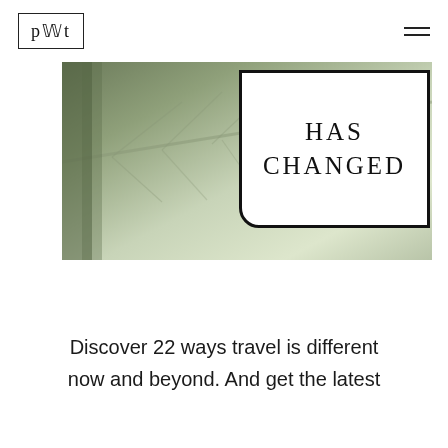[Figure (logo): PWT logo in a rectangular border box, top left]
[Figure (photo): Close-up of a large green leaf with veins, muted sage/olive tones. Overlaid with a white box bordered in black with rounded bottom-left corner containing the text HAS CHANGED in large serif capitals.]
Discover 22 ways travel is different now and beyond. And get the latest